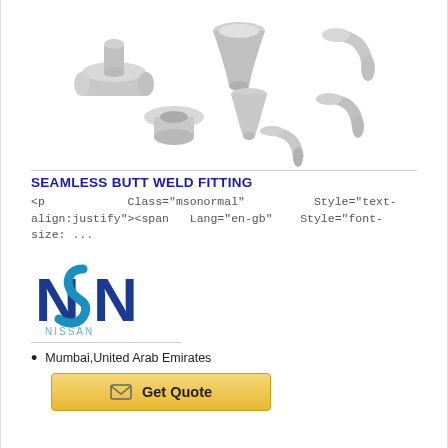[Figure (photo): Collection of stainless steel seamless butt weld pipe fittings — tee, reducer, elbow, cap, stub end — arranged on white background.]
SEAMLESS BUTT WELD FITTING
<p Class="msonormal" Style="text-align:justify"><span Lang="en-gb" Style="font-size: ...
[Figure (logo): NSN company logo in blue with stylized letters N, S, N and text NISSAN in light blue.]
Mumbai,United Arab Emirates
Get Quote